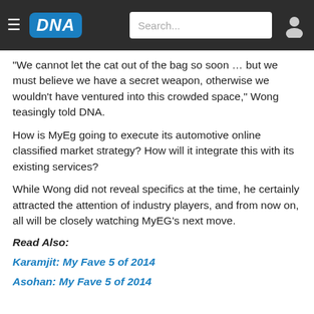[Figure (screenshot): DNA news website navigation bar with hamburger menu, DNA logo, search box, and user icon on dark background]
"We cannot let the cat out of the bag so soon … but we must believe we have a secret weapon, otherwise we wouldn't have ventured into this crowded space," Wong teasingly told DNA.
How is MyEg going to execute its automotive online classified market strategy? How will it integrate this with its existing services?
While Wong did not reveal specifics at the time, he certainly attracted the attention of industry players, and from now on, all will be closely watching MyEG's next move.
Read Also:
Karamjit: My Fave 5 of 2014
Asohan: My Fave 5 of 2014